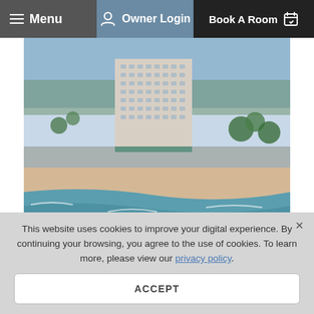Menu | Owner Login | Book A Room
[Figure (photo): Aerial view of Harbour Beach Resort, a tall hotel building on Daytona Beach with ocean and beach in foreground]
Harbour Beach Resort
701 South Atlantic Avenue Daytona Beach, FL 32118
[Figure (infographic): Beach umbrella icon and swimming pool/figure icon]
This website uses cookies to improve your digital experience. By continuing your browsing, you agree to the use of cookies. To learn more, please view our privacy policy.
ACCEPT